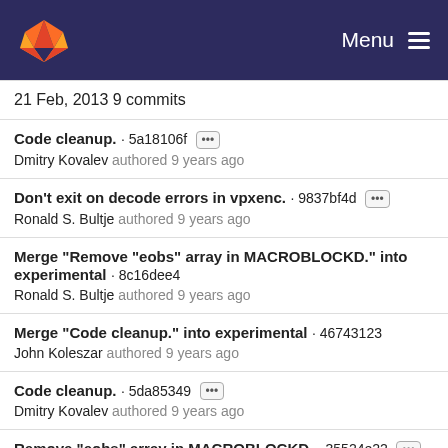GitLab Menu
21 Feb, 2013 9 commits
Code cleanup. · 5a18106f ··· Dmitry Kovalev authored 9 years ago
Don't exit on decode errors in vpxenc. · 9837bf4d ··· Ronald S. Bultje authored 9 years ago
Merge "Remove "eobs" array in MACROBLOCKD." into experimental · 8c16dee4 Ronald S. Bultje authored 9 years ago
Merge "Code cleanup." into experimental · 46743123 John Koleszar authored 9 years ago
Code cleanup. · 5da85349 ··· Dmitry Kovalev authored 9 years ago
Remove "eobs" array in MACROBLOCKD. · 35524e22 ···